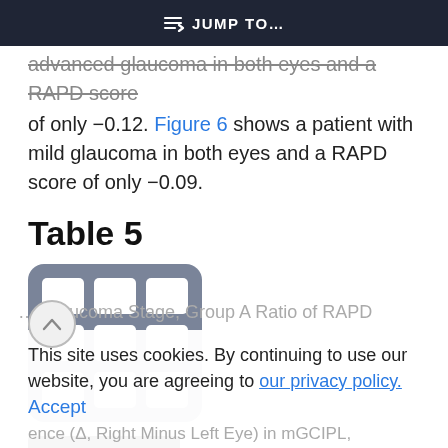JUMP TO…
advanced glaucoma in both eyes and a RAPD score of only −0.12. Figure 6 shows a patient with mild glaucoma in both eyes and a RAPD score of only −0.09.
Table 5
[Figure (table-as-image): Table icon placeholder showing a grid of cells (3x3) with a rounded rectangle background in grey]
View Table
This site uses cookies. By continuing to use our website, you are agreeing to our privacy policy. Accept